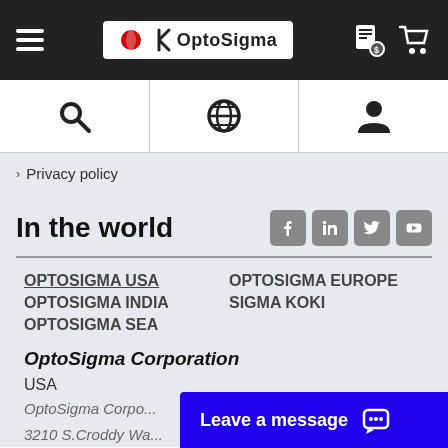OptoSigma - navigation header with hamburger menu, logo, quote and cart icons
Icon bar: search, globe/language, user/account
> Privacy policy
In the world
OPTOSIGMA USA
OPTOSIGMA EUROPE
OPTOSIGMA INDIA
SIGMA KOKI
OPTOSIGMA SEA
OptoSigma Corporation
USA
OptoSigma Corporation
3210 S.Croddy Wa...
Leave a message